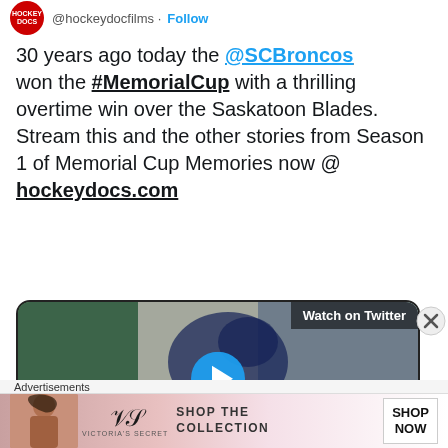@hockeydocfilms · Follow
30 years ago today the @SCBroncos won the #MemorialCup with a thrilling overtime win over the Saskatoon Blades. Stream this and the other stories from Season 1 of Memorial Cup Memories now @ hockeydocs.com
[Figure (screenshot): Video thumbnail showing hockey jersey with blue logo. 'Watch on Twitter' label in top right. Blue play button circle in center.]
Advertisements
[Figure (photo): Victoria's Secret advertisement banner. Shows model on left, VS logo, 'SHOP THE COLLECTION' text, and 'SHOP NOW' button on right.]